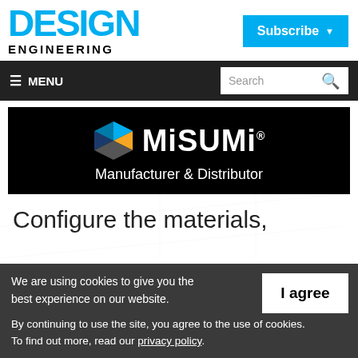DESIGN ENGINEERING
Subscribe
≡ MENU
[Figure (logo): MiSUMi logo with colored cube icon on black background with text 'Manufacturer & Distributor']
Configure the materials,
We are using cookies to give you the best experience on our website.
By continuing to use the site, you agree to the use of cookies.
To find out more, read our privacy policy.